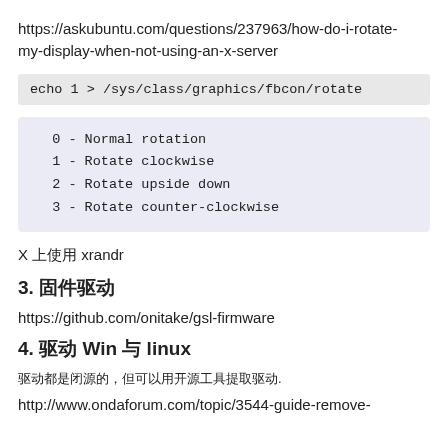https://askubuntu.com/questions/237963/how-do-i-rotate-my-display-when-not-using-an-x-server
echo 1 > /sys/class/graphics/fbcon/rotate
0 - Normal rotation
1 - Rotate clockwise
2 - Rotate upside down
3 - Rotate counter-clockwise
X 上使用 xrandr
3. 固件驱动
https://github.com/onitake/gsl-firmware
4. 驱动 Win 与 linux
驱动都是闭源的，但可以用开源工具提取驱动.
http://www.ondaforum.com/topic/3544-guide-remove-